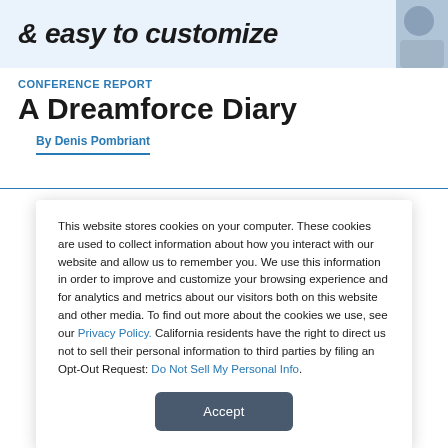[Figure (screenshot): Banner with italic bold text '& easy to customize' on light blue background with partial image on right side]
CONFERENCE REPORT
A Dreamforce Diary
By Denis Pombriant
This website stores cookies on your computer. These cookies are used to collect information about how you interact with our website and allow us to remember you. We use this information in order to improve and customize your browsing experience and for analytics and metrics about our visitors both on this website and other media. To find out more about the cookies we use, see our Privacy Policy. California residents have the right to direct us not to sell their personal information to third parties by filing an Opt-Out Request: Do Not Sell My Personal Info.
Accept